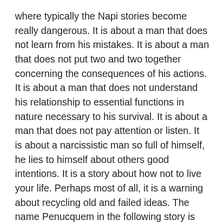where typically the Napi stories become really dangerous. It is about a man that does not learn from his mistakes. It is about a man that does not put two and two together concerning the consequences of his actions. It is about a man that does not understand his relationship to essential functions in nature necessary to his survival. It is about a man that does not pay attention or listen. It is about a narcissistic man so full of himself, he lies to himself about others good intentions. It is a story about how not to live your life. Perhaps most of all, it is a warning about recycling old and failed ideas. The name Penucquem in the following story is the proper, formal, Blackfoot word for rectum.
“Napi Eats His Butt.”
“Napi had been to a great feast with his brothers. He